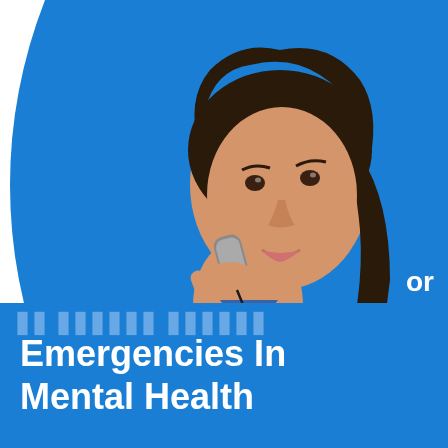[Figure (photo): A female nurse or healthcare professional in blue scrubs holding a telephone receiver to her ear, with a stethoscope around her neck, smiling slightly and looking upward. The background is bright blue.]
Emergencies In
Mental Health